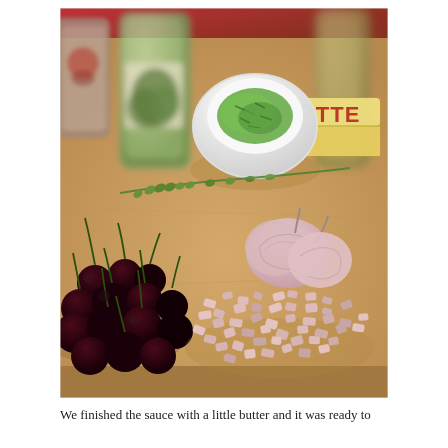[Figure (photo): Cooking ingredients arranged on a wooden cutting board: dark cherries with stems on the left, chopped shallots in the center with a whole shallot behind them, a white bowl containing chopped fresh herbs (chives), a stick of butter partially unwrapped showing 'BUTTE' label, two glass spice jars (one with dried herbs, one with red pepper flakes) in the background, fresh thyme sprigs scattered, and bottles of oil in the background. Red cloth visible at top.]
We finished the sauce with a little butter and it was ready to